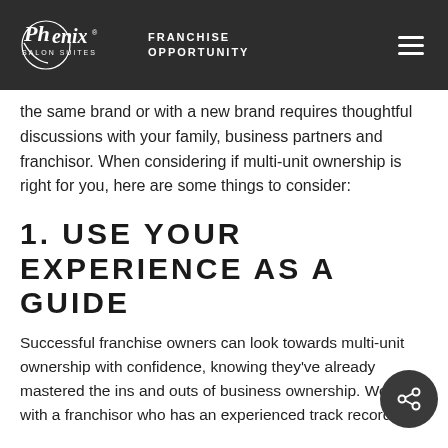Phenix Salon Suites | FRANCHISE OPPORTUNITY
the same brand or with a new brand requires thoughtful discussions with your family, business partners and franchisor. When considering if multi-unit ownership is right for you, here are some things to consider:
1. USE YOUR EXPERIENCE AS A GUIDE
Successful franchise owners can look towards multi-unit ownership with confidence, knowing they've already mastered the ins and outs of business ownership. Working with a franchisor who has an experienced track record of